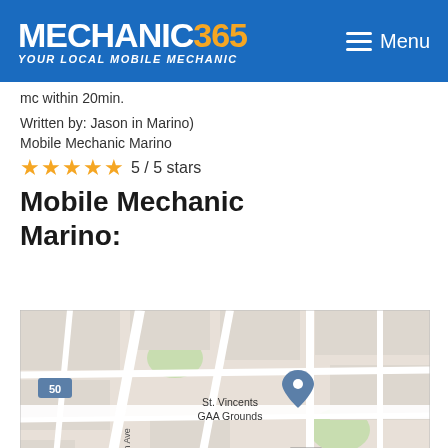MECHANIC365 YOUR LOCAL MOBILE MECHANIC — Menu
mc within 20min.
Written by: Jason in Marino)
Mobile Mechanic Marino
5 / 5 stars
Mobile Mechanic Marino:
[Figure (map): Google Maps screenshot showing Marino area in Dublin, Ireland. Visible landmarks include St. Vincents GAA Grounds with a map pin, streets including Philipsburgh Ave, road labels R102 and R107, and the MARINO area label. Road 50 visible at top left.]